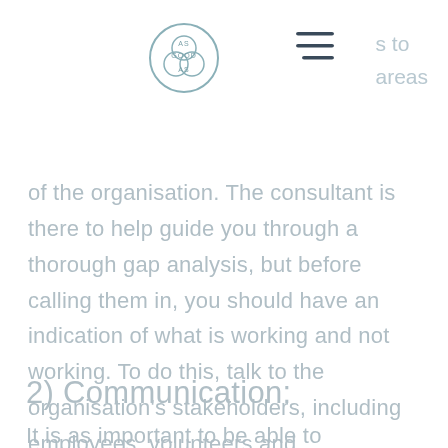AS GOOD AS [logo]
s to areas of the organisation. The consultant is there to help guide you through a thorough gap analysis, but before calling them in, you should have an indication of what is working and not working. To do this, talk to the organisation's stakeholders, including employees, volunteers and beneficiaries, keep an account of the shortfalls and victories, and try and notice a pattern.
2) Communication:
It is as important to be able to